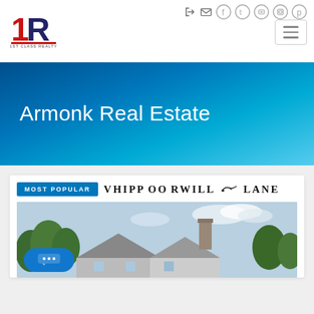[Figure (logo): 1ST CLASS REALTY logo with red '1' and blue 'R' stylized letters]
Armonk Real Estate
MOST POPULAR  VHIPPOORWILL LANE
[Figure (photo): Exterior photo of a house with trees, roof, and chimney visible against a partly cloudy sky]